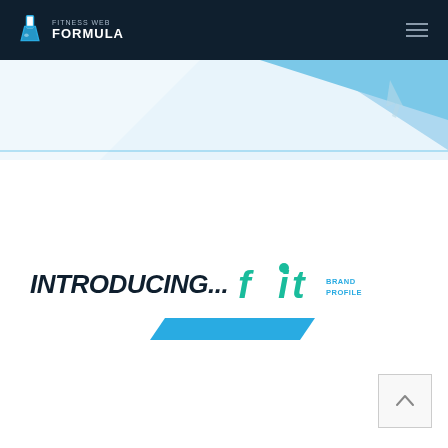FITNESS WEB FORMULA
[Figure (photo): Blue and white diagonal angled hero image with light blue triangular shapes and a faint cursor/pointer icon in the background]
INTRODUCING... fit BRAND PROFILE
[Figure (illustration): Cyan/blue parallelogram decorative bar element]